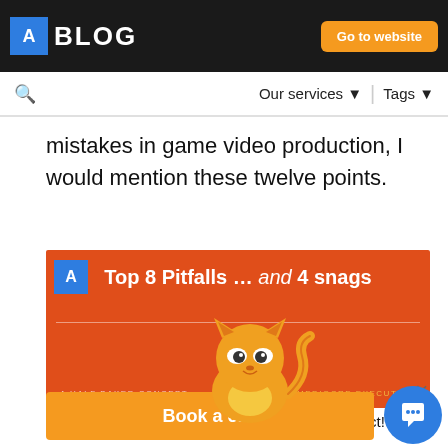ABLOG — sometimes it's not easy to tear a video together... but the secret ingredient that makes it cool. Usually it's a...
mistakes in game video production, I would mention these twelve points.
[Figure (screenshot): Orange banner reading 'Top 8 Pitfalls ... and 4 snags' with a cartoon cat illustration overlaid, sub-labels 'A HALF BAKED CONCEPT' and 'MEDIOCRE EXECUTION']
Meow! We know video production for apps & games inside out. Let's talk about a video for your product!
Book a call